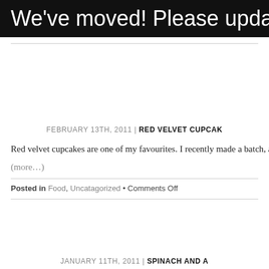We've moved! Please update you
FEBRUARY 13TH, 2011 | RED VELVET CUPCAK
Red velvet cupcakes are one of my favourites. I recently made a batch, a
(more…)
Posted in Food, Uncatagorized • Comments Off
JANUARY 11TH, 2011 | SPINACH AND A